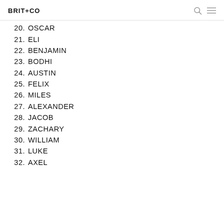BRIT+CO
20. OSCAR
21. ELI
22. BENJAMIN
23. BODHI
24. AUSTIN
25. FELIX
26. MILES
27. ALEXANDER
28. JACOB
29. ZACHARY
30. WILLIAM
31. LUKE
32. AXEL